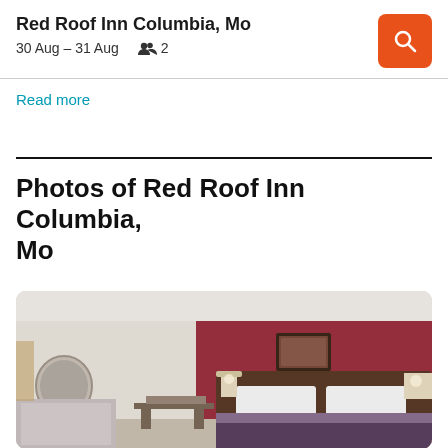Red Roof Inn Columbia, Mo
30 Aug – 31 Aug   👥 2
Read more
Photos of Red Roof Inn Columbia, Mo
[Figure (photo): Hotel room interior showing a bed with white pillows and a patterned bedspread against a dark red accent wall, with wall-mounted lamps, a framed picture, a desk, and a vanity mirror area visible on the left.]